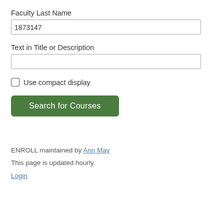Faculty Last Name
1873147
Text in Title or Description
Use compact display
Search for Courses
ENROLL maintained by Ann May
This page is updated hourly.
Login